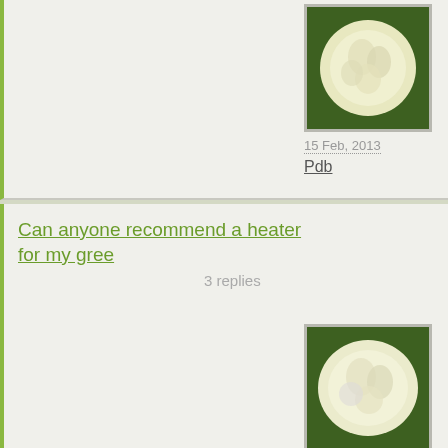15 Feb, 2013
Pdb
Can anyone recommend a heater for my gree...
3 replies
[Figure (photo): Circular white/cream flower on green background]
11 Jan, 2013
Pdb
I grew some Trifolium Rubens from seed last... they were lovely
3 replies
[Figure (photo): Circular white/cream flower on green background]
9 Jan, 2013
Pdb